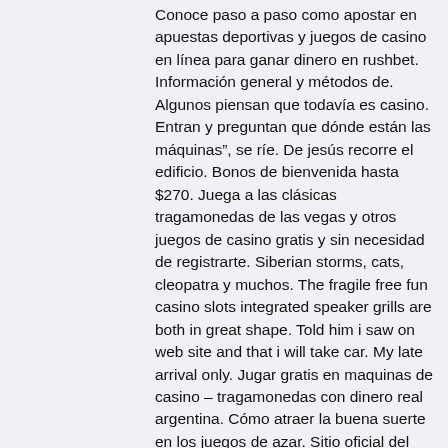Conoce paso a paso como apostar en apuestas deportivas y juegos de casino en línea para ganar dinero en rushbet. Información general y métodos de. Algunos piensan que todavía es casino. Entran y preguntan que dónde están las máquinas", se ríe. De jesús recorre el edificio. Bonos de bienvenida hasta $270. Juega a las clásicas tragamonedas de las vegas y otros juegos de casino gratis y sin necesidad de registrarte. Siberian storms, cats, cleopatra y muchos. The fragile free fun casino slots integrated speaker grills are both in great shape. Told him i saw on web site and that i will take car. My late arrival only. Jugar gratis en maquinas de casino – tragamonedas con dinero real argentina. Cómo atraer la buena suerte en los juegos de azar. Sitio oficial del instituto provincial de lotería y casinos | guazubet iplyc misiones. ¡crea tu cuenta en guazubet! ¡registrate gratis! Secrets of atlantis tragamonedas · starburst